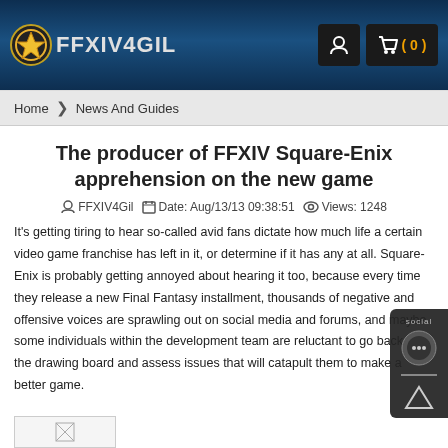FFXIV4GIL
Home > News And Guides
The producer of FFXIV Square-Enix apprehension on the new game
FFXIV4Gil  Date: Aug/13/13 09:38:51  Views: 1248
It's getting tiring to hear so-called avid fans dictate how much life a certain video game franchise has left in it, or determine if it has any at all. Square-Enix is probably getting annoyed about hearing it too, because every time they release a new Final Fantasy installment, thousands of negative and offensive voices are sprawling out on social media and forums, and maybe some individuals within the development team are reluctant to go back to the drawing board and assess issues that will catapult them to make a better game.
[Figure (photo): Broken image placeholder at bottom of article]